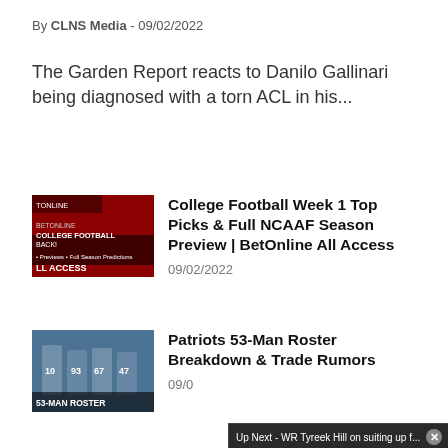By CLNS Media - 09/02/2022
The Garden Report reacts to Danilo Gallinari being diagnosed with a torn ACL in his...
[Figure (screenshot): Thumbnail for College Football Week 1 article showing football players and BetOnline All Access graphic]
College Football Week 1 Top Picks & Full NCAAF Season Preview | BetOnline All Access
09/02/2022
[Figure (screenshot): Thumbnail for Patriots 53-Man Roster article showing football team and broadcaster]
Patriots 53-Man Roster Breakdown & Trade Rumors
09/0...
[Figure (screenshot): Thumbnail for Bob article showing basketball players]
Bob... War...
08/3...
[Figure (screenshot): Video overlay: Up Next - WR Tyreek Hill on suiting up f... showing Dolphins press conference. Ad 1 of 1 (0:30).]